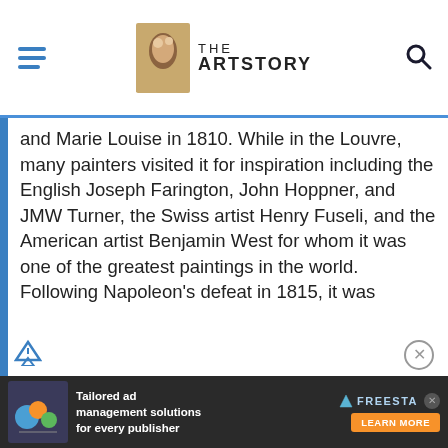THE ARTSTORY
and Marie Louise in 1810. While in the Louvre, many painters visited it for inspiration including the English Joseph Farington, John Hoppner, and JMW Turner, the Swiss artist Henry Fuseli, and the American artist Benjamin West for whom it was one of the greatest paintings in the world. Following Napoleon's defeat in 1815, it was returned to Rome.
Described by Giorgio Vasari as Raphael's "most beautiful and divine work," this painting has been a source of constant education and inspiration to artists. Turner used it as reference in a lecture on composition, and Caravaggio for its use of chiaroscuro (the effect of contrasted light and
[Figure (screenshot): Advertisement banner: Tailored ad management solutions for every publisher - FREESTA brand logo with orange LEARN MORE button]